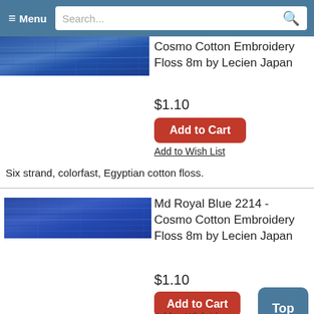≡ Menu  Search...
[Figure (photo): Blue embroidery floss skein, top of image cropped]
Cosmo Cotton Embroidery Floss 8m by Lecien Japan
$1.10
Add to Cart
Add to Wish List
Six strand, colorfast, Egyptian cotton floss.
[Figure (photo): Blue (Md Royal Blue) embroidery floss skein]
Md Royal Blue 2214 - Cosmo Cotton Embroidery Floss 8m by Lecien Japan
$1.10
Add to Cart
Add to Wish List